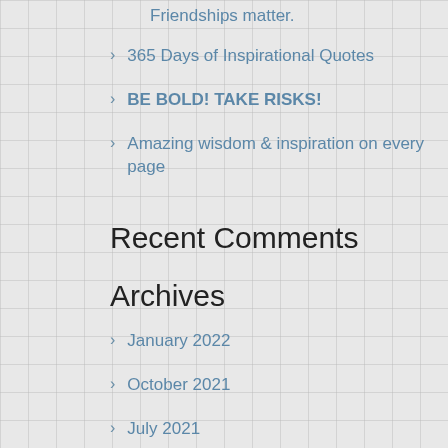Friendships matter.
365 Days of Inspirational Quotes
BE BOLD! TAKE RISKS!
Amazing wisdom & inspiration on every page
Recent Comments
Archives
January 2022
October 2021
July 2021